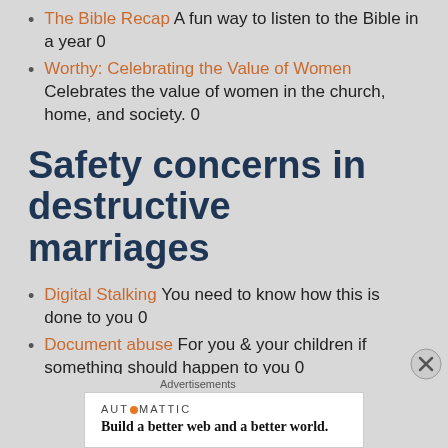The Bible Recap A fun way to listen to the Bible in a year 0
Worthy: Celebrating the Value of Women Celebrates the value of women in the church, home, and society. 0
Safety concerns in destructive marriages
Digital Stalking You need to know how this is done to you 0
Document abuse For you & your children if something should happen to you 0
Advertisements
[Figure (other): Automattic advertisement banner: 'Build a better web and a better world.']